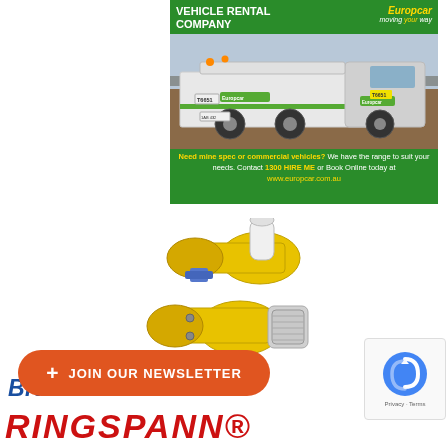[Figure (photo): Europcar vehicle rental advertisement showing a white utility truck (flatbed ute) with Europcar branding in green, parked on a mining/industrial site. Green background with Europcar logo top-right and 'VEHICLE RENTAL COMPANY' heading. Bottom text invites contact for mine spec or commercial vehicles.]
[Figure (photo): Yellow industrial equipment — Ringspann brakes for crane applications. Two yellow cylindrical brake units with metallic components visible.]
Brakes for Crane
+ JOIN OUR NEWSLETTER
RINGSPANN®